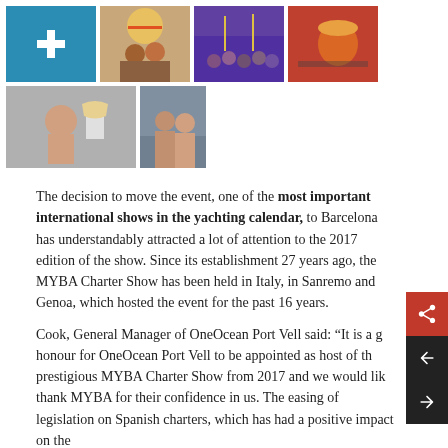[Figure (photo): Grid of thumbnail photos: row 1 has 4 images (teal plus sign, people with umbrella, crowd at event, drink in glass); row 2 has 2 images (person with trophy, people outdoors)]
The decision to move the event, one of the most important international shows in the yachting calendar, to Barcelona has understandably attracted a lot of attention to the 2017 edition of the show. Since its establishment 27 years ago, the MYBA Charter Show has been held in Italy, in Sanremo and Genoa, which hosted the event for the past 16 years.
Cook, General Manager of OneOcean Port Vell said: “It is a g honour for OneOcean Port Vell to be appointed as host of th prestigious MYBA Charter Show from 2017 and we would like thank MYBA for their confidence in us. The easing of legislation on Spanish charters, which has had a positive impact on the